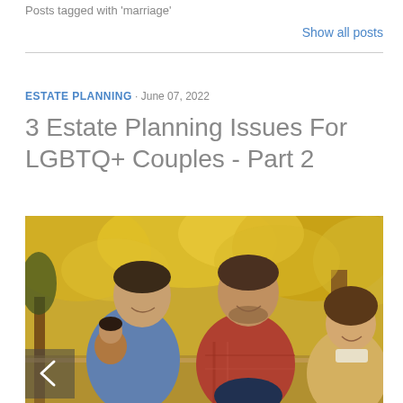Posts tagged with 'marriage'
Show all posts
ESTATE PLANNING · June 07, 2022
3 Estate Planning Issues For LGBTQ+ Couples - Part 2
[Figure (photo): Two smiling men with two children outdoors in autumn setting with trees in background]